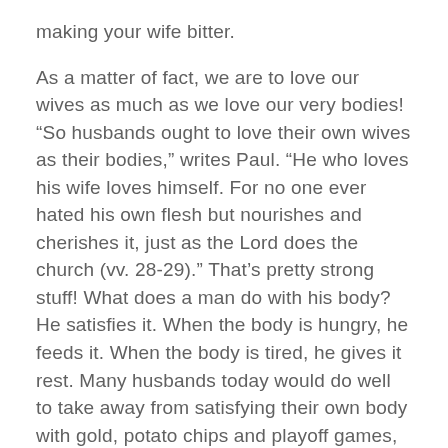making your wife bitter.

As a matter of fact, we are to love our wives as much as we love our very bodies! “So husbands ought to love their own wives as their bodies,” writes Paul. “He who loves his wife loves himself. For no one ever hated his own flesh but nourishes and cherishes it, just as the Lord does the church (vv. 28-29).” That’s pretty strong stuff! What does a man do with his body? He satisfies it. When the body is hungry, he feeds it. When the body is tired, he gives it rest. Many husbands today would do well to take away from satisfying their own body with gold, potato chips and playoff games, and feed their marriage relationship instead.